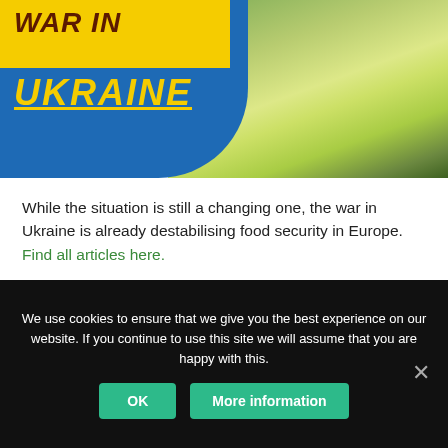[Figure (illustration): Banner image showing 'WAR IN UKRAINE' text on a yellow and blue background with a field photograph]
While the situation is still a changing one, the war in Ukraine is already destabilising food security in Europe. Find all articles here.
ARC2020 NEWSLETTER
We use cookies to ensure that we give you the best experience on our website. If you continue to use this site we will assume that you are happy with this.